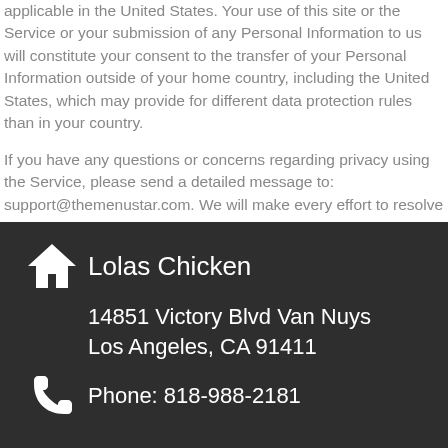applicable in the United States. Your use of this site or the Service or your submission of any Personal Information to us will constitute your consent to the transfer of your Personal Information outside of your home country, including the United States, which may provide for different data protection rules than in your country.
If you have any questions or concerns regarding privacy using the Service, please send a detailed message to: support@themenustar.com. We will make every effort to resolve your concerns.
Lolas Chicken
14851 Victory Blvd Van Nuys Los Angeles, CA 91411
Phone: 818-988-2181